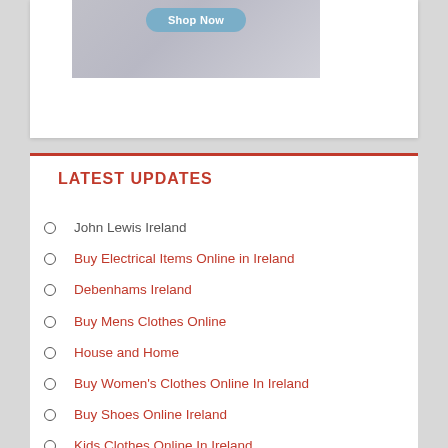[Figure (photo): A clothing/apparel banner image with a 'Shop Now' button on a blue rounded pill shape, grey fabric/knitwear background]
LATEST UPDATES
John Lewis Ireland
Buy Electrical Items Online in Ireland
Debenhams Ireland
Buy Mens Clothes Online
House and Home
Buy Women's Clothes Online In Ireland
Buy Shoes Online Ireland
Kids Clothes Online In Ireland
Promotional Codes and Discounts